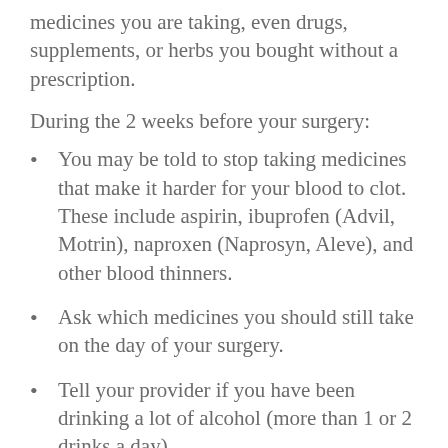medicines you are taking, even drugs, supplements, or herbs you bought without a prescription.
During the 2 weeks before your surgery:
You may be told to stop taking medicines that make it harder for your blood to clot. These include aspirin, ibuprofen (Advil, Motrin), naproxen (Naprosyn, Aleve), and other blood thinners.
Ask which medicines you should still take on the day of your surgery.
Tell your provider if you have been drinking a lot of alcohol (more than 1 or 2 drinks a day).
If you smoke, try to stop. Ask your provider for help. Smoking can slow down wound